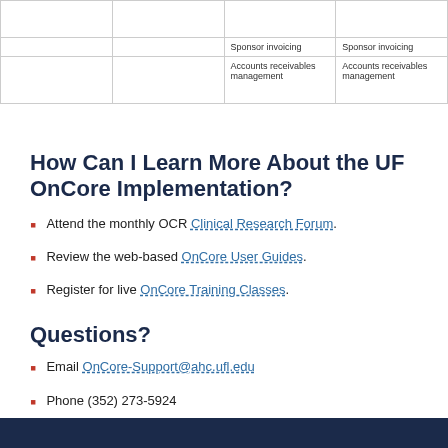|  |  |  |  |
| --- | --- | --- | --- |
|  |  |  |  |
|  |  | Sponsor invoicing | Sponsor invoicing |
|  |  | Accounts receivables management | Accounts receivables management |
How Can I Learn More About the UF OnCore Implementation?
Attend the monthly OCR Clinical Research Forum.
Review the web-based OnCore User Guides.
Register for live OnCore Training Classes.
Questions?
Email OnCore-Support@ahc.ufl.edu
Phone (352) 273-5924